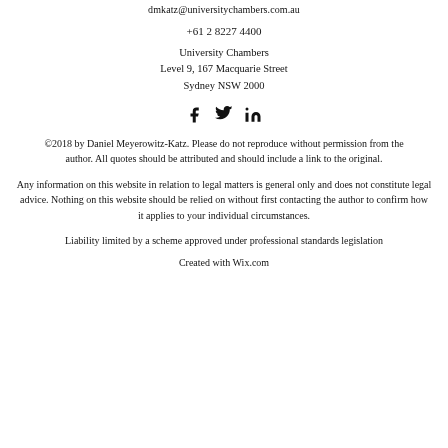dmkatz@universitychambers.com.au
+61 2 8227 4400
University Chambers
Level 9, 167 Macquarie Street
Sydney NSW 2000
[Figure (illustration): Three social media icons: Facebook (f), Twitter (bird), LinkedIn (in)]
©2018 by Daniel Meyerowitz-Katz. Please do not reproduce without permission from the author. All quotes should be attributed and should include a link to the original.
Any information on this website in relation to legal matters is general only and does not constitute legal advice. Nothing on this website should be relied on without first contacting the author to confirm how it applies to your individual circumstances.
Liability limited by a scheme approved under professional standards legislation
Created with Wix.com